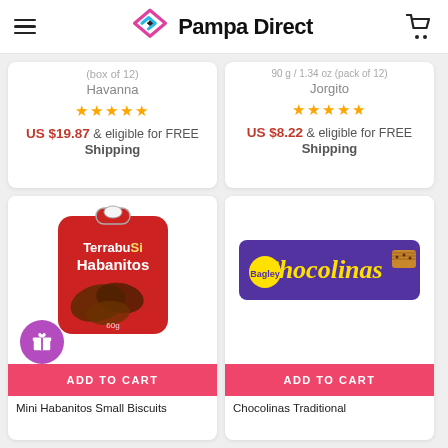Pampa Direct
(box of 12) | Havanna | ★★★★★ | US $19.87 & eligible for FREE Shipping
90 g / 1.34 oz (pack of 12) | Jorgito | ★★★★★ | US $8.22 & eligible for FREE Shipping
[Figure (photo): Red bag of TerrabuSi Habanitos chocolate biscuits, 60g]
ADD TO CART
Mini Habanitos Small Biscuits
[Figure (photo): Purple box of Bagley Chocolinas traditional chocolate cookies]
ADD TO CART
Chocolinas Traditional